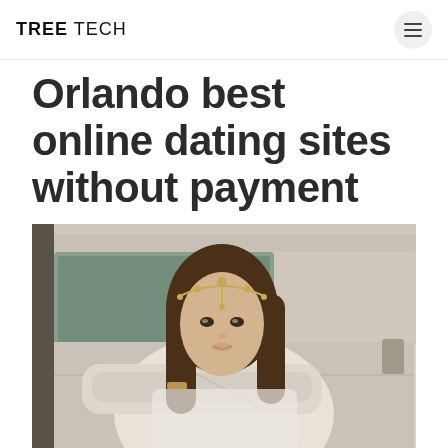TREE TECH
Orlando best online dating sites without payment
[Figure (photo): A young woman with long brown hair wearing a decorative headpiece, leaning out of a vintage van window with her arms crossed on the door, looking at the camera.]